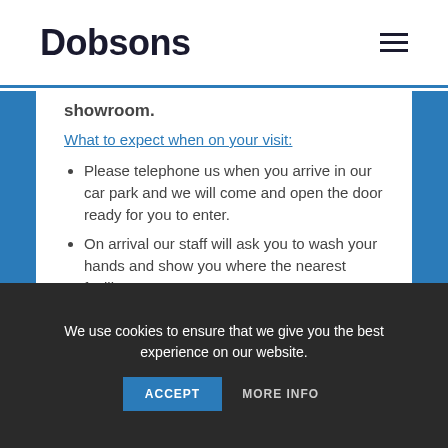Dobsons
showroom.
What to expect when on your visit:
Please telephone us when you arrive in our car park and we will come and open the door ready for you to enter.
On arrival our staff will ask you to wash your hands and show you where the nearest facility
We use cookies to ensure that we give you the best experience on our website.
ACCEPT   MORE INFO